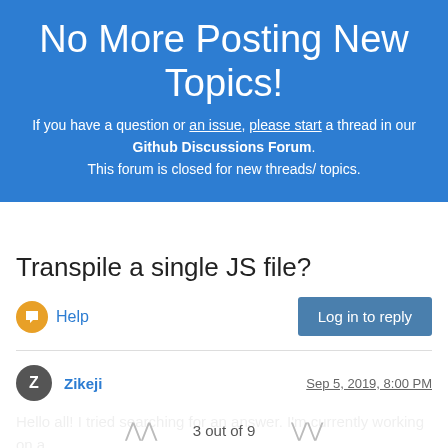No More Posting New Topics!
If you have a question or an issue, please start a thread in our Github Discussions Forum. This forum is closed for new threads/ topics.
Transpile a single JS file?
Help
Log in to reply
Zikeji
Sep 5, 2019, 8:00 PM
Hello all! I tried searching for an answer. I'm currently working on a solution.
3 out of 9